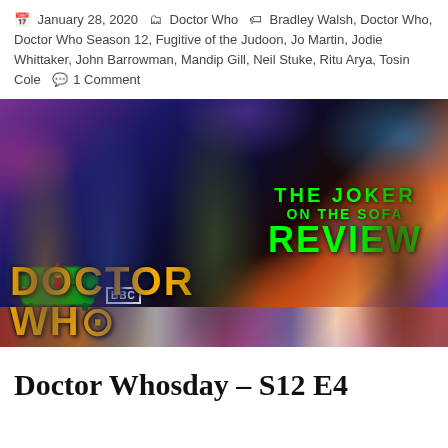January 28, 2020  Doctor Who  Bradley Walsh, Doctor Who, Doctor Who Season 12, Fugitive of the Judoon, Jo Martin, Jodie Whittaker, John Barrowman, Mandip Gill, Neil Stuke, Ritu Arya, Tosin Cole  1 Comment
[Figure (illustration): Doctor Who Season 12 promotional image showing cast members against a colorful sci-fi background, overlaid with 'The Joker on the Sofa Review' text in green and a BBC Doctor Who logo.]
Doctor Whosday – S12 E4